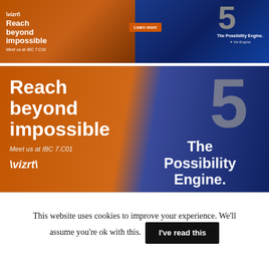[Figure (screenshot): Top thumbnail banner for Vizrt ad showing orange left side with Vizrt logo, 'Reach beyond impossible' text, 'Meet us at IBC 7.C01', a Learn more button, and blue right side with large '5' numeral and 'The Possibility Engine.' text with Viz Engine logo]
[Figure (screenshot): Main large Vizrt advertisement banner. Left half has warm orange/brown tones showing a woman reaching out, with text 'Reach beyond impossible', 'Meet us at IBC 7.C01', Vizrt logo, and 'Learn more' button. Right half has blue tones with a large '5' numeral, 'The Possibility Engine.' text, and Viz Engine logo.]
[Figure (screenshot): Partial view of Televisual website with large bold 'TELEVISUAL' text on a dark golden/brown background, partially visible at bottom]
This website uses cookies to improve your experience. We'll assume you're ok with this.
I've read this